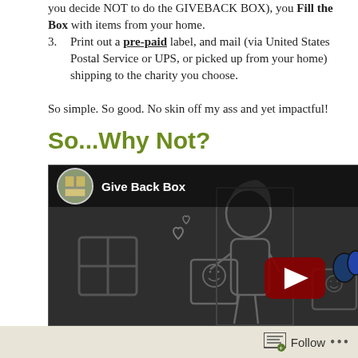you decide NOT to do the GIVEBACK BOX), you Fill the Box with items from your home.
3. Print out a pre-paid label, and mail (via United States Postal Service or UPS, or picked up from your home) shipping to the charity you choose.
So simple. So good. No skin off my ass and yet impactful!
So...Why Not?
[Figure (screenshot): YouTube video embed showing 'Give Back Box' channel with a cartoon illustration of a woman holding a box with a smiley face and heart symbols, and a YouTube play button in the center.]